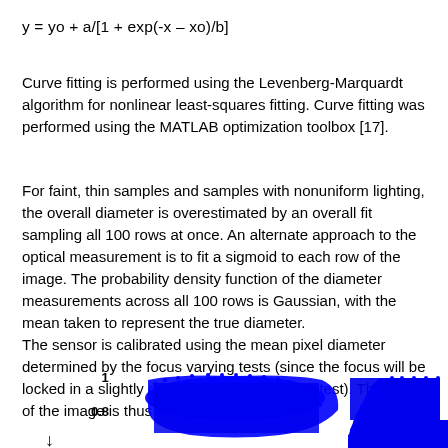Curve fitting is performed using the Levenberg-Marquardt algorithm for nonlinear least-squares fitting. Curve fitting was performed using the MATLAB optimization toolbox [17].
For faint, thin samples and samples with nonuniform lighting, the overall diameter is overestimated by an overall fit sampling all 100 rows at once. An alternate approach to the optical measurement is to fit a sigmoid to each row of the image. The probability density function of the diameter measurements across all 100 rows is Gaussian, with the mean taken to represent the true diameter.
The sensor is calibrated using the mean pixel diameter determined by the focus varying tests (since the focus will be locked in a slightly different manner for each test). The scale of the image is thus 3.11 pixels/μm.
[Figure (continuous-plot): Two side-by-side plots showing blue scatter/filled regions. Left plot has y-axis labels '1' and '0.8' visible, with a blue filled arc-shaped region. Right plot shows a blue sigmoid-shaped filled region. Both appear to be optical measurement data plots.]